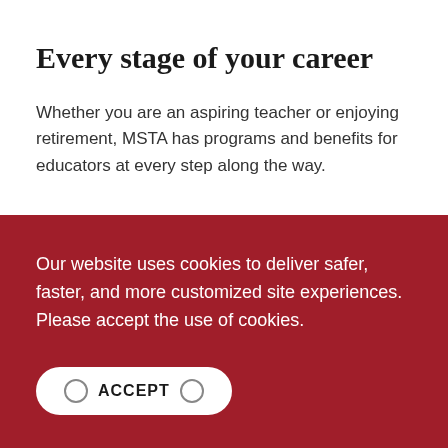Every stage of your career
Whether you are an aspiring teacher or enjoying retirement, MSTA has programs and benefits for educators at every step along the way.
Our website uses cookies to deliver safer, faster, and more customized site experiences. Please accept the use of cookies.